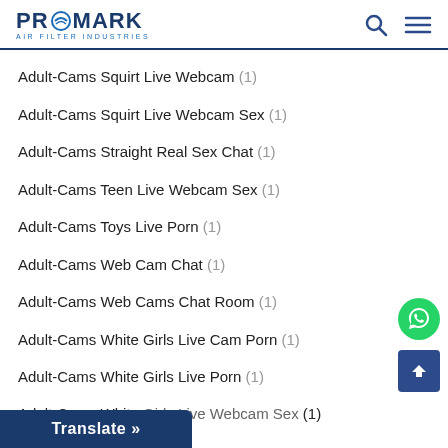PROMARK AIR FILTER INDUSTRIES
Adult-Cams Squirt Live Webcam (1)
Adult-Cams Squirt Live Webcam Sex (1)
Adult-Cams Straight Real Sex Chat (1)
Adult-Cams Teen Live Webcam Sex (1)
Adult-Cams Toys Live Porn (1)
Adult-Cams Web Cam Chat (1)
Adult-Cams Web Cams Chat Room (1)
Adult-Cams White Girls Live Cam Porn (1)
Adult-Cams White Girls Live Porn (1)
Adult-Cams White Girls Live Webcam Sex (1)